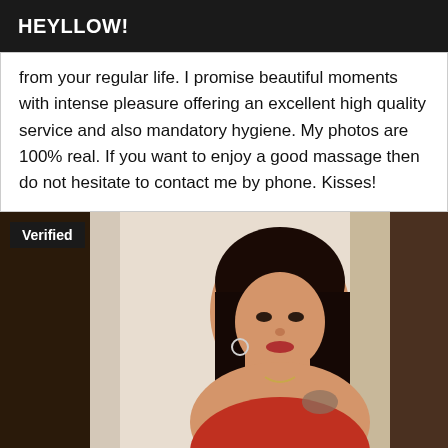HEYLLOW!
from your regular life. I promise beautiful moments with intense pleasure offering an excellent high quality service and also mandatory hygiene. My photos are 100% real. If you want to enjoy a good massage then do not hesitate to contact me by phone. Kisses!
[Figure (photo): Portrait photo of a woman with long dark hair, wearing a red top, with a tattoo on her shoulder. A 'Verified' badge appears in the top-left corner of the image.]